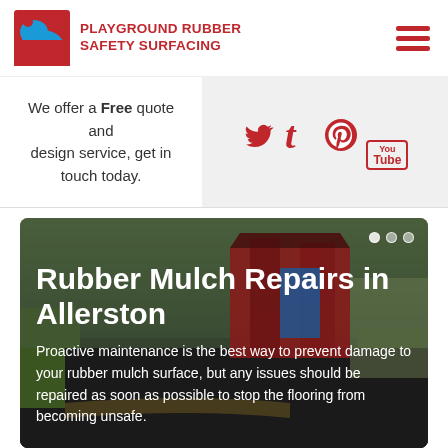PLAYGROUND RUBBER SAFETY SURFACING
We offer a Free quote and design service, get in touch today.
[Figure (logo): Social media icons: Twitter bird, Tumblr t, Pinterest P, YouTube logo in red]
[Figure (photo): Playground with rubber mulch surfacing in Allerston, showing dark rubber ground surface with playground equipment in background]
Rubber Mulch Repairs in Allerston
Proactive maintenance is the best way to prevent damage to your rubber mulch surface, but any issues should be repaired as soon as possible to stop the flooring from becoming unsafe.